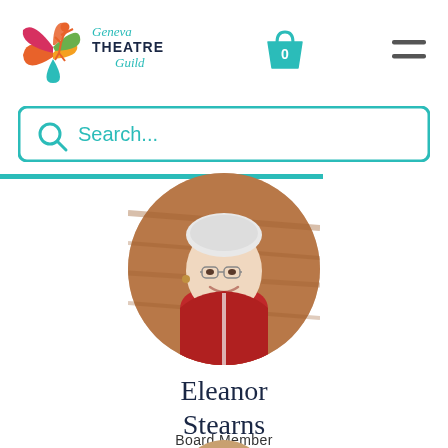[Figure (logo): Geneva Theatre Guild logo with colorful dancer figure and text]
[Figure (illustration): Shopping cart icon with number 0]
[Figure (illustration): Hamburger menu icon with two horizontal lines]
[Figure (illustration): Search bar with magnifying glass icon and placeholder text Search...]
[Figure (photo): Circular profile photo of Eleanor Stearns, an elderly woman with white hair, glasses, and a red jacket, smiling]
Eleanor Stearns
Board Member
[Figure (photo): Partial circular profile photo of another person, cut off at the bottom of the page]